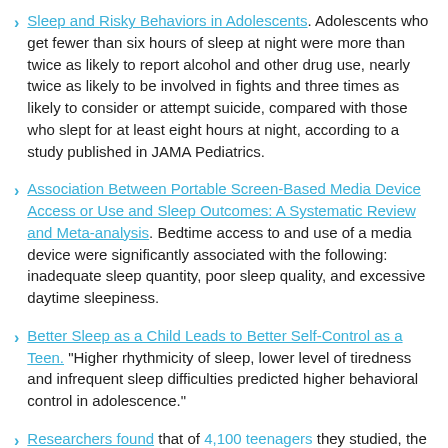Sleep and Risky Behaviors in Adolescents. Adolescents who get fewer than six hours of sleep at night were more than twice as likely to report alcohol and other drug use, nearly twice as likely to be involved in fights and three times as likely to consider or attempt suicide, compared with those who slept for at least eight hours at night, according to a study published in JAMA Pediatrics.
Association Between Portable Screen-Based Media Device Access or Use and Sleep Outcomes: A Systematic Review and Meta-analysis. Bedtime access to and use of a media device were significantly associated with the following: inadequate sleep quantity, poor sleep quality, and excessive daytime sleepiness.
Better Sleep as a Child Leads to Better Self-Control as a Teen. "Higher rhythmicity of sleep, lower level of tiredness and infrequent sleep difficulties predicted higher behavioral control in adolescence."
Researchers found that of 4,100 teenagers they studied, the one-third with the poorest sleep quality were more likely to be overweight or have unhealthy blood pressure or cholesterol levels.
Sleep Schedules and Daytime Functioning in Adolescents. High schools students with earlier bedtimes and longer, more regular